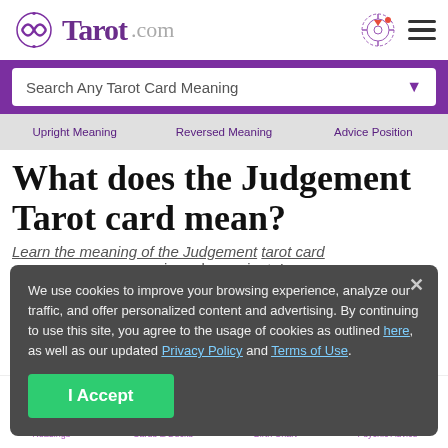Tarot.com
Search Any Tarot Card Meaning
Upright Meaning   Reversed Meaning   Advice Position
What does the Judgement Tarot card mean?
Learn the meaning of the Judgement tarot card in under a minute!
We use cookies to improve your browsing experience, analyze our traffic, and offer personalized content and advertising. By continuing to use this site, you agree to the usage of cookies as outlined here, as well as our updated Privacy Policy and Terms of Use.
I Accept
[Figure (illustration): Bottom navigation icons: Readings scroll icon, Cards & Decks playing card icon, Birth Chart circular sun icon, Psychic Advice eye in triangle icon]